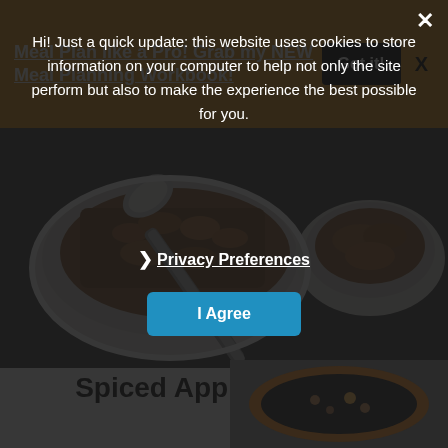Meal Plan like a Pro! Grab my NEW Meal Planning Workbook!
[Figure (photo): Overhead photo of spiced apple crumble in a white baking dish with a spoon, and a smaller dish with crumble on the right, on a dark background]
Spiced Apple Crumble
Hi! Just a quick update: this website uses cookies to store information on your computer to help not only the site perform but also to make the experience the best possible for you.
❯ Privacy Preferences
I Agree